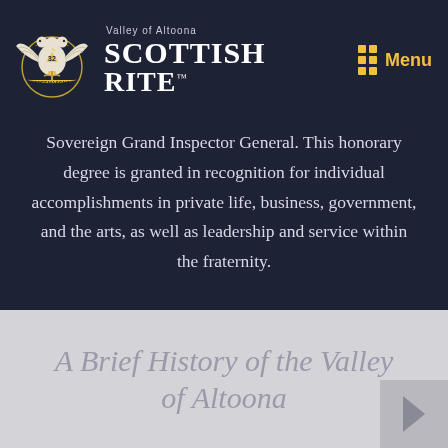[Figure (logo): Scottish Rite Valley of Altoona logo with double-headed eagle emblem on left and 'SCOTTISH RITE' text branding, with 'Valley of Altoona' subtitle above]
Sovereign Grand Inspector General. This honorary degree is granted in recognition for individual accomplishments in private life, business, government, and the arts, as well as leadership and service within the fraternity.
A Brief History of the Valley of Altoona